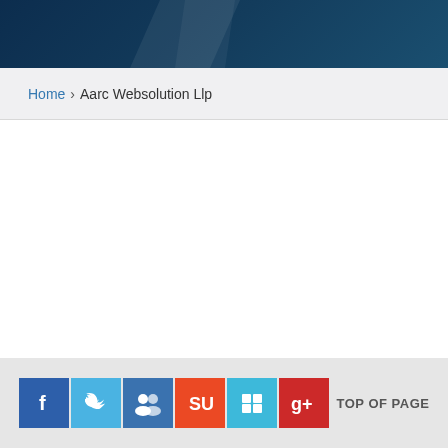Home › Aarc Websolution Llp
TOP OF PAGE